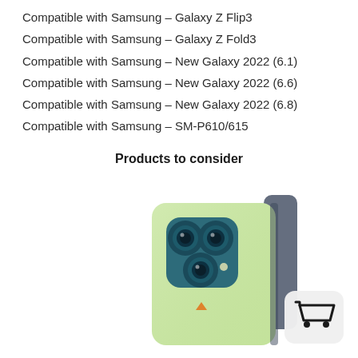Compatible with Samsung – Galaxy Z Flip3
Compatible with Samsung – Galaxy Z Fold3
Compatible with Samsung – New Galaxy 2022 (6.1)
Compatible with Samsung – New Galaxy 2022 (6.6)
Compatible with Samsung – New Galaxy 2022 (6.8)
Compatible with Samsung – SM-P610/615
Products to consider
[Figure (photo): A light green phone case (flip/wallet style) for iPhone 12 Pro Max, shown open with the phone inserted, featuring a triple camera cutout and a small orange brand logo. A shopping cart icon button is visible in the bottom right corner.]